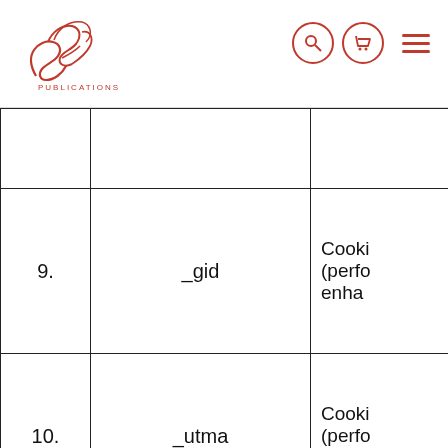Burge Publications — navigation bar with logo, search icon, cart icon, and menu
| # | Name | Description |
| --- | --- | --- |
|  |  |  |
| 9. | _gid | Cooki (perfo enha |
| 10. | _utma | Cooki (perfo enha |
|  |  |  |